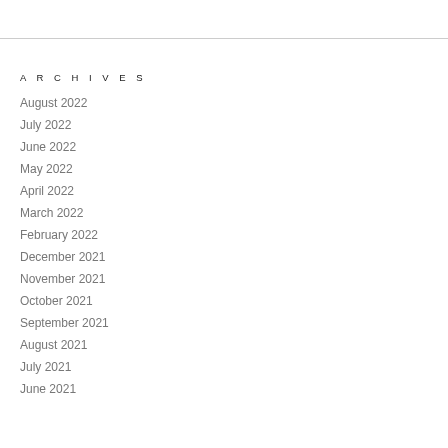ARCHIVES
August 2022
July 2022
June 2022
May 2022
April 2022
March 2022
February 2022
December 2021
November 2021
October 2021
September 2021
August 2021
July 2021
June 2021